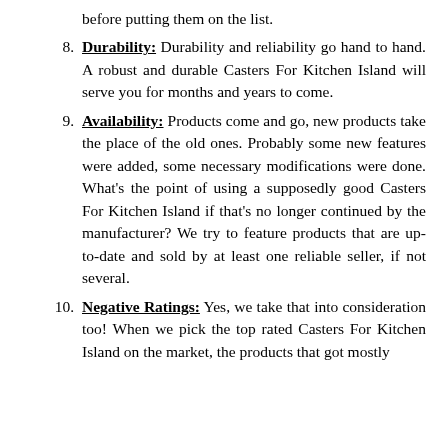before putting them on the list.
8. Durability: Durability and reliability go hand to hand. A robust and durable Casters For Kitchen Island will serve you for months and years to come.
9. Availability: Products come and go, new products take the place of the old ones. Probably some new features were added, some necessary modifications were done. What’s the point of using a supposedly good Casters For Kitchen Island if that’s no longer continued by the manufacturer? We try to feature products that are up-to-date and sold by at least one reliable seller, if not several.
10. Negative Ratings: Yes, we take that into consideration too! When we pick the top rated Casters For Kitchen Island on the market, the products that got mostly